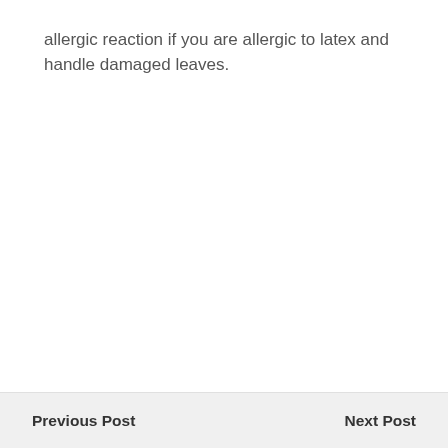allergic reaction if you are allergic to latex and handle damaged leaves.
Previous Post    Next Post